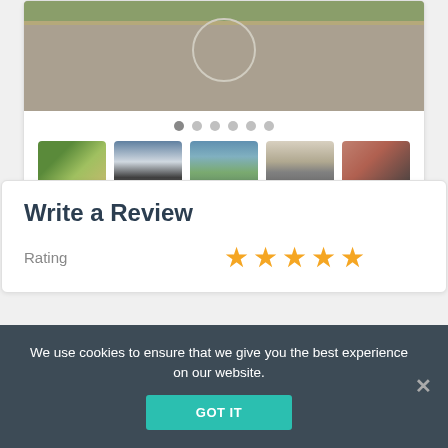[Figure (photo): Main photo showing a playground with gravel ground and swing set, green grass border at top]
[Figure (photo): Row of 5 thumbnail photos: garden/trees, house exterior, landscape with water, bathroom interior, living room interior]
Write a Review
Rating ★★★★★
We use cookies to ensure that we give you the best experience on our website.
GOT IT